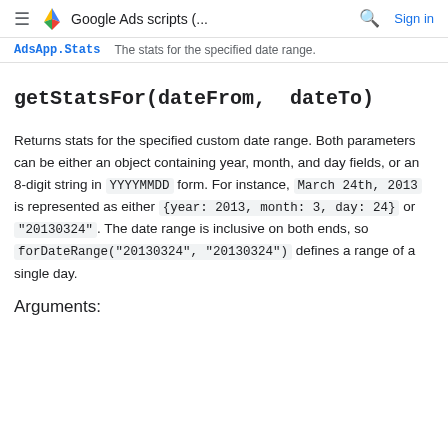≡  Google Ads scripts (...   🔍  Sign in
AdsApp.Stats    The stats for the specified date range.
getStatsFor(dateFrom, dateTo)
Returns stats for the specified custom date range. Both parameters can be either an object containing year, month, and day fields, or an 8-digit string in YYYYMMDD form. For instance, March 24th, 2013 is represented as either {year: 2013, month: 3, day: 24} or "20130324". The date range is inclusive on both ends, so forDateRange("20130324", "20130324") defines a range of a single day.
Arguments: